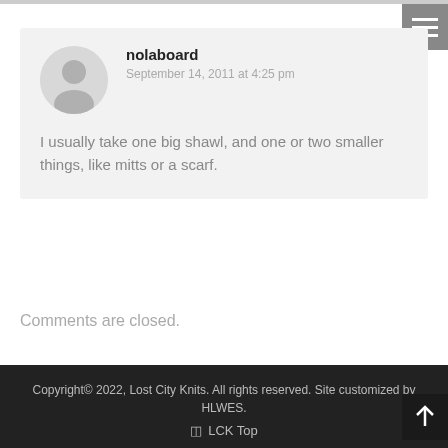[Figure (screenshot): User avatar placeholder — grey circle with silhouette icon]
nolaboard
September 14, 2011 at 4:25 pm
I usually take one big shawl, and one or two smaller things, like mitts or a scarf.
Comments are closed.
Copyright© 2022, Lost City Knits. All rights reserved. Site customized by HLWES.
☰ LCK Top